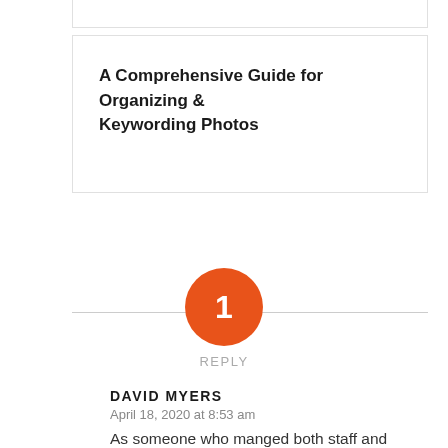A Comprehensive Guide for Organizing & Keywording Photos
[Figure (other): Orange circle with number 1 indicating 1 reply]
REPLY
DAVID MYERS
April 18, 2020 at 8:53 am
As someone who manged both staff and technical projects in a large research organization my experience was that nobody took backups seriously until after they had lost some data. Moreover, whatever your backup system, I recommend to delete a file and to try and restore it. You may